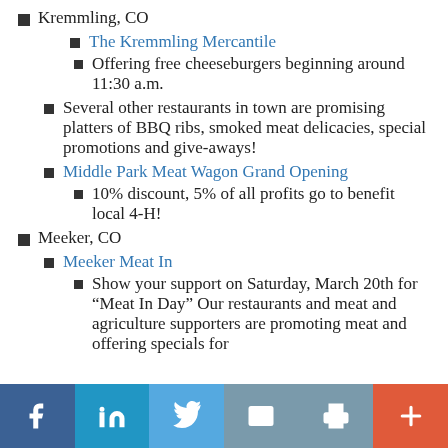Kremmling, CO
The Kremmling Mercantile
Offering free cheeseburgers beginning around 11:30 a.m.
Several other restaurants in town are promising platters of BBQ ribs, smoked meat delicacies, special promotions and give-aways!
Middle Park Meat Wagon Grand Opening
10% discount, 5% of all profits go to benefit local 4-H!
Meeker, CO
Meeker Meat In
Show your support on Saturday, March 20th for “Meat In Day” Our restaurants and meat and agriculture supporters are promoting meat and offering specials for